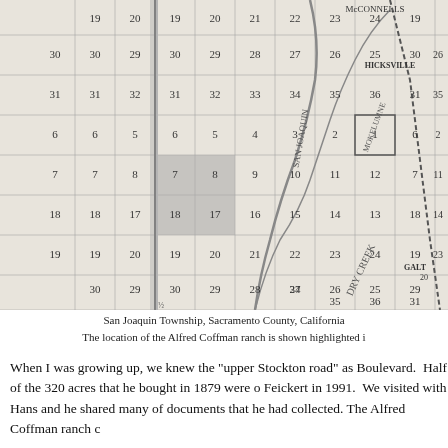[Figure (map): Portion of a township grid map showing San Joaquin Township, Sacramento County, California. Grid sections numbered 1-36 visible, with labeled localities including McCONNELLS, HICKSVILLE, GALT, and DRY CREEK waterway. San Joaquin river and Mokelumne county boundary visible. A shaded area highlights the Alfred Coffman ranch location in sections 16-21 area.]
San Joaquin Township, Sacramento County, California
The location of the Alfred Coffman ranch is shown highlighted i
When I was growing up, we knew the "upper Stockton road" as Boulevard.  Half of the 320 acres that he bought in 1879 were o Feickert in 1991.  We visited with Hans and he shared many of documents that he had collected. The Alfred Coffman ranch c